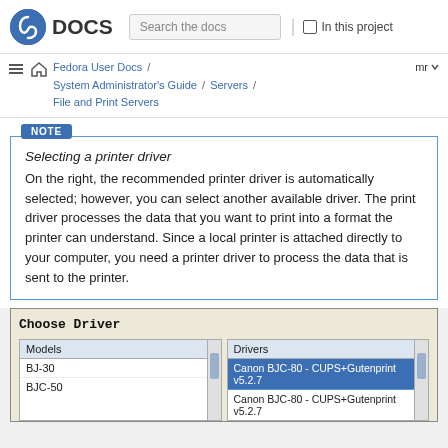Fedora DOCS  |  Search the docs  |  In this project
Fedora User Docs / System Administrator's Guide / Servers / File and Print Servers   mr
NOTE
Selecting a printer driver
On the right, the recommended printer driver is automatically selected; however, you can select another available driver. The print driver processes the data that you want to print into a format the printer can understand. Since a local printer is attached directly to your computer, you need a printer driver to process the data that is sent to the printer.
[Figure (screenshot): Choose Driver dialog with Models list (BJ-30, BJC-50) and Drivers list (Canon BJC-80 - CUPS+Gutenprint v5.2.7 selected, Canon BJC-80 - CUPS+Gutenprint v5.2.7)]